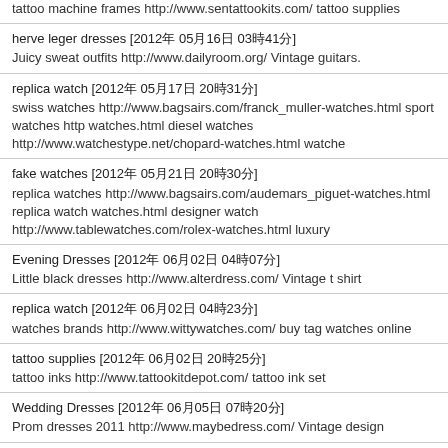tattoo machine frames http://www.sentattookits.com/ tattoo supplies
herve leger dresses [2012年 05月16日 03時41分]
Juicy sweat outfits http://www.dailyroom.org/ Vintage guitars.
replica watch [2012年 05月17日 20時31分]
swiss watches http://www.bagsairs.com/franck_muller-watches.html sport watches http... watches.html diesel watches http://www.watchestype.net/chopard-watches.html watche...
fake watches [2012年 05月21日 20時30分]
replica watches http://www.bagsairs.com/audemars_piguet-watches.html replica watch... watches.html designer watch http://www.tablewatches.com/rolex-watches.html luxury
Evening Dresses [2012年 06月02日 04時07分]
Little black dresses http://www.alterdress.com/ Vintage t shirt
replica watch [2012年 06月02日 04時23分]
watches brands http://www.wittywatches.com/ buy tag watches online
tattoo supplies [2012年 06月02日 20時25分]
tattoo inks http://www.tattookitdepot.com/ tattoo ink set
Wedding Dresses [2012年 06月05日 07時20分]
Prom dresses 2011 http://www.maybedress.com/ Vintage design
Wedding Dresses [2012年 06月07日 05時11分]
Clothing stores http://www.seizedress.com/ Over stitch
Juicy Couture Dresses [2012年 06月17日 09時12分]
Vintage books http://www.somanydress.com/ Dresses evening gowns
Cocktail Dress [2012年 06月17日 19時52分]
Vintage cloth http://www.firstdress.com/ Fashion design...